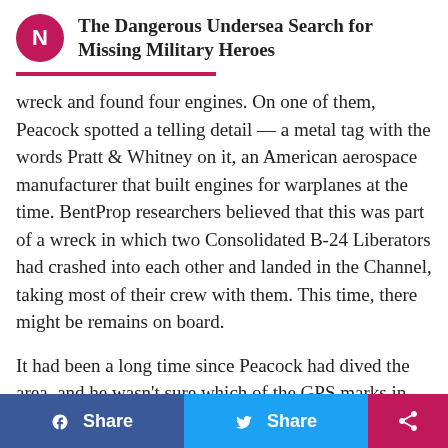The Dangerous Undersea Search for Missing Military Heroes
wreck and found four engines. On one of them, Peacock spotted a telling detail — a metal tag with the words Pratt & Whitney on it, an American aerospace manufacturer that built engines for warplanes at the time. BentProp researchers believed that this was part of a wreck in which two Consolidated B-24 Liberators had crashed into each other and landed in the Channel, taking most of their crew with them. This time, there might be remains on board.
It had been a long time since Peacock had dived the area, and he wasn't sure which of the GPS marks in his records was the right one. We tried with the first mark